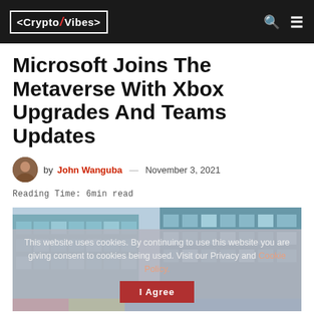<CryptoVibes>
Microsoft Joins The Metaverse With Xbox Upgrades And Teams Updates
by John Wanguba — November 3, 2021
Reading Time: 6min read
[Figure (photo): Glass office building exterior viewed from below, blue sky background, with a semi-transparent cookie consent overlay at the bottom]
This website uses cookies. By continuing to use this website you are giving consent to cookies being used. Visit our Privacy and Cookie Policy.
I Agree